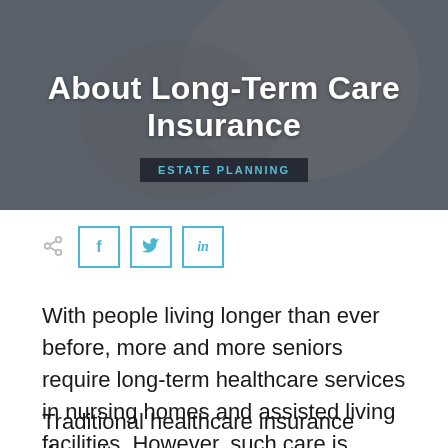[Figure (photo): Hero image showing elderly person being cared for, with dark overlay. Text overlay reads 'About Long-Term Care Insurance' and badge 'ESTATE PLANNING'.]
About Long-Term Care Insurance
ESTATE PLANNING
[Figure (other): Social share icons: share symbol, Facebook (f), Twitter (bird), LinkedIn (in)]
With people living longer than ever before, more and more seniors require long-term healthcare services in nursing homes and assisted living facilities. However, such care is extremely expensive, especially when it's needed for extended periods of time.
Traditional healthcare insurance doesn't